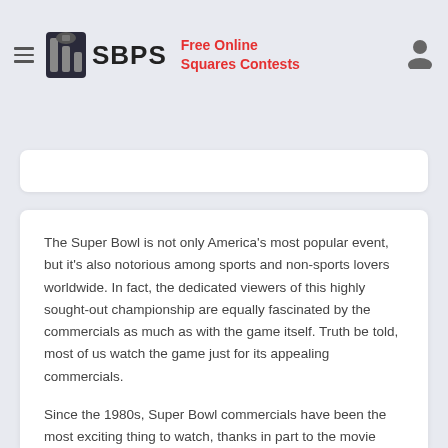SBPS — Free Online Squares Contests
The 20 Best Super Bowl Commercials of All Time
by Jack — January 6, 2021
The Super Bowl is not only America's most popular event, but it's also notorious among sports and non-sports lovers worldwide. In fact, the dedicated viewers of this highly sought-out championship are equally fascinated by the commercials as much as with the game itself. Truth be told, most of us watch the game just for its appealing commercials.
Since the 1980s, Super Bowl commercials have been the most exciting thing to watch, thanks in part to the movie stars, pop culture, and notable Hollywood storytelling trends that these commercials promote. Corporations spend billions of dollars yearly to hawk their brands in Super Bowl for only 30 seconds! Many companies have even…